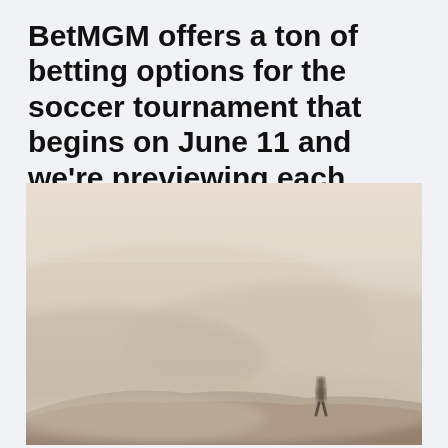BetMGM offers a ton of betting options for the soccer tournament that begins on June 11 and we're previewing each group to help you make
[Figure (photo): A foggy, misty outdoor scene showing a lone silhouetted figure standing on a hill or ridge. The atmosphere is extremely hazy with warm beige/tan tones. The figure is positioned in the lower right portion of the image.]